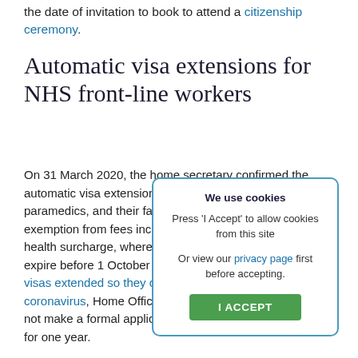the date of invitation to book to attend a citizenship ceremony.
Automatic visa extensions for NHS front-line workers
On 31 March 2020, the home secretary confirmed the automatic visa extension of doctors, nurses and paramedics, and their families. They will receive exemption from fees including the immigration health surcharge, where their visas were due to expire before 1 October 2020. 'NHS and social care visas extended so they can continue fight against coronavirus', Home Office workers do not need to not make a formal application and visas are extended for one year.
We use cookies
Press 'I Accept' to allow cookies from this site
Or view our privacy page first before accepting.
[I ACCEPT button]